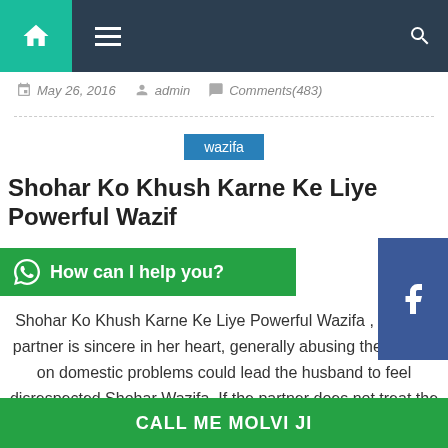Navigation bar with home, menu, and search icons
May 26, 2016   admin   Comments(483)
wazifa
Shohoar Ko Khush Karne Ke Liye Powerful Wazif
How can I help you?
Shohar Ko Khush Karne Ke Liye Powerful Wazifa , "Even if partner is sincere in her heart, generally abusing the tongue on domestic problems could lead the husband to feel disrespected Shohar Wazifa. If the partner does not treat the husband well, he could notice many peace reprimand strange girls outside home. Typically, the [...]
CALL ME MOLVI JI